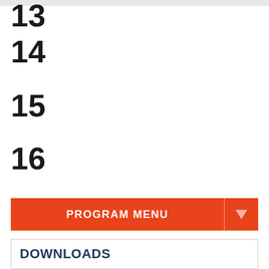13
14
15
16
PROGRAM MENU
WELCOME TO THE MARATHON TRAINING PROGRAM
DOWNLOADS